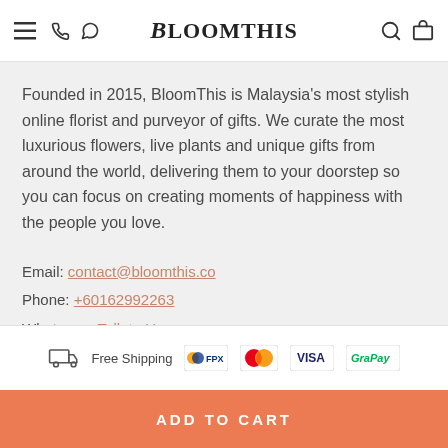BloomThis
Founded in 2015, BloomThis is Malaysia's most stylish online florist and purveyor of gifts. We curate the most luxurious flowers, live plants and unique gifts from around the world, delivering them to your doorstep so you can focus on creating moments of happiness with the people you love.
Email: contact@bloomthis.co
Phone: +60162992263
Whatsapp: Talk to Us
Free Shipping | FPX | Mastercard | VISA | GrabPay
ADD TO CART